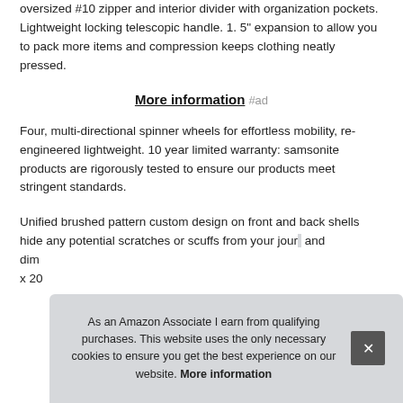oversized #10 zipper and interior divider with organization pockets. Lightweight locking telescopic handle. 1. 5" expansion to allow you to pack more items and compression keeps clothing neatly pressed.
More information #ad
Four, multi-directional spinner wheels for effortless mobility, re-engineered lightweight. 10 year limited warranty: samsonite products are rigorously tested to ensure our products meet stringent standards.
Unified brushed pattern custom design on front and back shells hide any potential scratches or scuffs from your jour... and... dim... x 20...
As an Amazon Associate I earn from qualifying purchases. This website uses the only necessary cookies to ensure you get the best experience on our website. More information